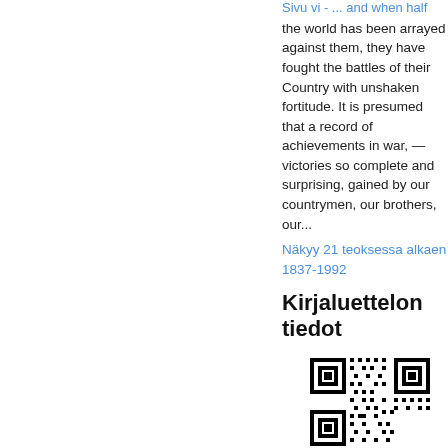Sivu vi - ... and when half the world has been arrayed against them, they have fought the battles of their Country with unshaken fortitude. It is presumed that a record of achievements in war, — victories so complete and surprising, gained by our countrymen, our brothers, our...
Näkyy 21 teoksessa alkaen 1837-1992
Kirjaluettelon tiedot
[Figure (other): QR code for Kirjaluettelon tiedot]